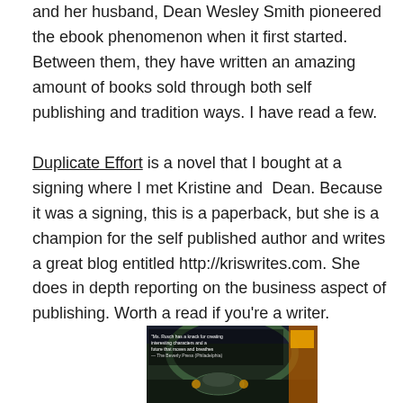and her husband, Dean Wesley Smith pioneered the ebook phenomenon when it first started. Between them, they have written an amazing amount of books sold through both self publishing and tradition ways. I have read a few.
Duplicate Effort is a novel that I bought at a signing where I met Kristine and  Dean. Because it was a signing, this is a paperback, but she is a champion for the self published author and writes a great blog entitled http://kriswrites.com. She does in depth reporting on the business aspect of publishing. Worth a read if you're a writer.
[Figure (photo): Book cover image for Duplicate Effort showing a futuristic scene with sci-fi elements, dark tones, with text overlay including a review quote mentioning characters and future themes from The Beverly Press Philadelphia.]